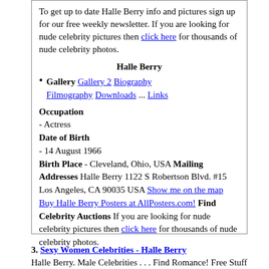To get up to date Halle Berry info and pictures sign up for our free weekly newsletter. If you are looking for nude celebrity pictures then click here for thousands of nude celebrity photos.
Halle Berry
Gallery Gallery 2 Biography Filmography Downloads ... Links
Occupation
- Actress
Date of Birth
- 14 August 1966
Birth Place - Cleveland, Ohio, USA Mailing Addresses Halle Berry 1122 S Robertson Blvd. #15 Los Angeles, CA 90035 USA Show me on the map Buy Halle Berry Posters at AllPosters.com! Find Celebrity Auctions If you are looking for nude celebrity pictures then click here for thousands of nude celebrity photos.
3. Sexy Women Celebrities - Halle Berry
Halle Berry. Male Celebrities . . . Find Romance! Free Stuff By Email! Birthday August 14, 1968. Birth Place